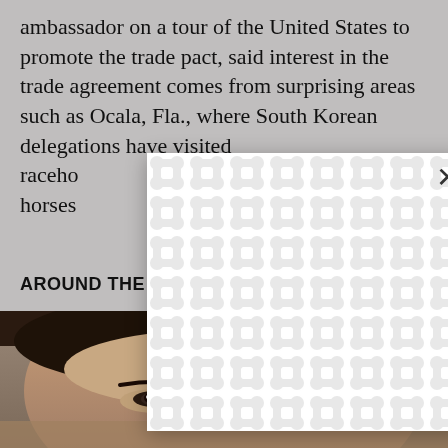ambassador on a tour of the United States to promote the trade pact, said interest in the trade agreement comes from surprising areas such as Ocala, Fla., where South Korean delegations have visited raceho[rses and …those horses [would benefit from the] trade agreem[ent].
[Figure (other): White modal/popup overlay with repeating circular chain-link pattern in light gray on white background, with an X close button in the upper right]
AROUND THE WEB
[Figure (photo): Close-up photo of a woman's face (Asian woman), showing her eyes and upper face, with dark hair]